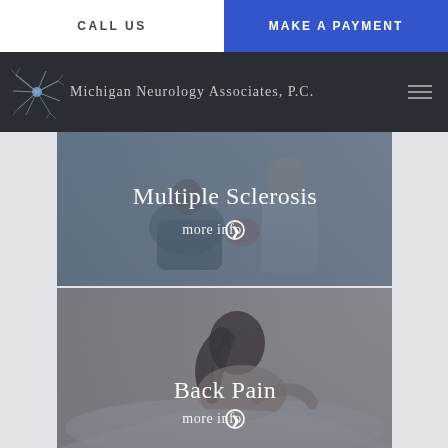CALL US
MAKE A PAYMENT
[Figure (logo): Michigan Neurology Associates, P.C. logo with stylized neuron graphic]
[Figure (photo): Doctor examining patient - Multiple Sclerosis service card with overlay text 'Multiple Sclerosis' and 'more info']
[Figure (photo): Woman experiencing back pain lying down - Back Pain service card with overlay text 'Back Pain' and 'more info']